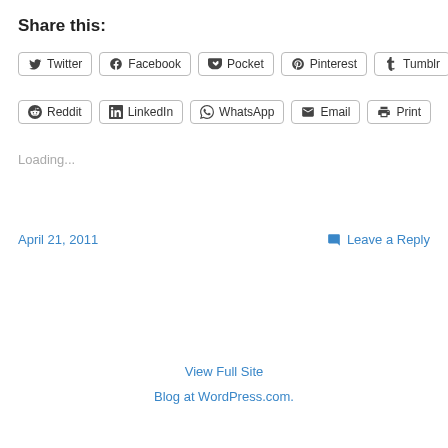Share this:
Twitter | Facebook | Pocket | Pinterest | Tumblr | Reddit | LinkedIn | WhatsApp | Email | Print
Loading...
April 21, 2011
Leave a Reply
View Full Site
Blog at WordPress.com.